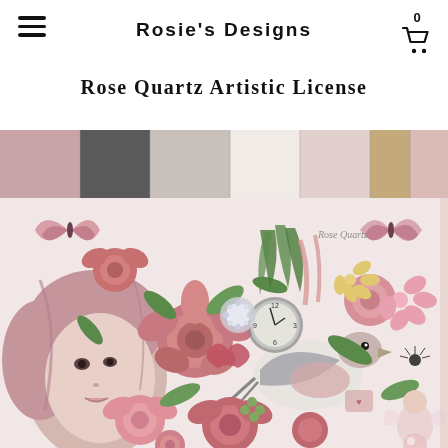Rosie's Designs
Rose Quartz Artistic License
[Figure (illustration): A decorative digital scrapbook kit image called 'Rose Quartz Artistic License' showing a collage of pink roses, flowers, butterflies, a bird, a clock, a feminine face with pink hair, a fairy figure, green leaves, and various decorative elements in rose quartz pink and neutral tones. Above the main collage is a strip of textured background papers in shades of pink, grey, white, and tan.]